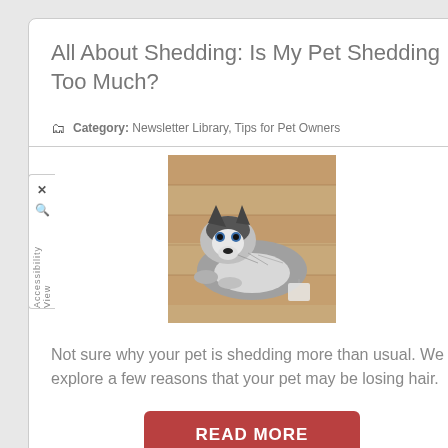All About Shedding: Is My Pet Shedding Too Much?
Category: Newsletter Library, Tips for Pet Owners
[Figure (photo): A husky dog lying on a wooden floor, looking tired or resting, with fur visible.]
Not sure why your pet is shedding more than usual. We explore a few reasons that your pet may be losing hair.
READ MORE